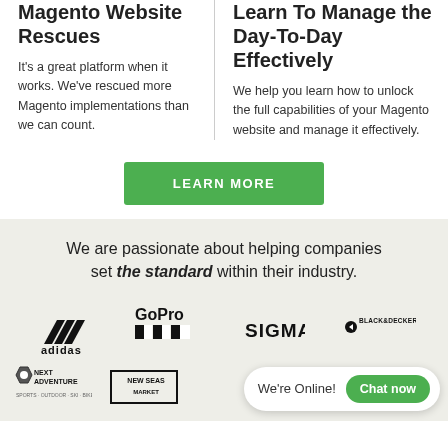Magento Website Rescues
It's a great platform when it works. We've rescued more Magento implementations than we can count.
Learn To Manage the Day-To-Day Effectively
We help you learn how to unlock the full capabilities of your Magento website and manage it effectively.
LEARN MORE
We are passionate about helping companies set the standard within their industry.
[Figure (logo): Adidas logo]
[Figure (logo): GoPro logo]
[Figure (logo): SIGMA logo]
[Figure (logo): Black & Decker logo]
[Figure (logo): Next Adventure logo]
[Figure (logo): New Seasons Market logo]
We're Online!
Chat now